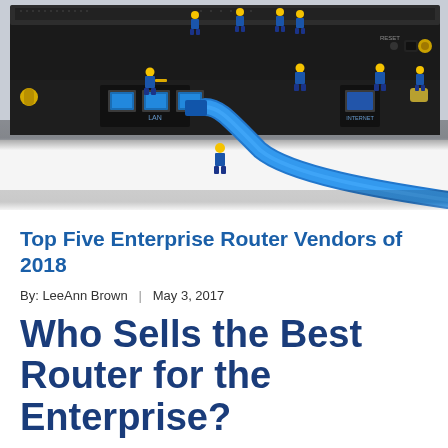[Figure (photo): Miniature toy workers in blue overalls and yellow hard hats working on a network router, plugging in blue ethernet cables, set against a white background. The router shows LAN and INTERNET ports with multiple figurines positioned around and on top of the device.]
Top Five Enterprise Router Vendors of 2018
By: LeeAnn Brown  |  May 3, 2017
Who Sells the Best Router for the Enterprise?